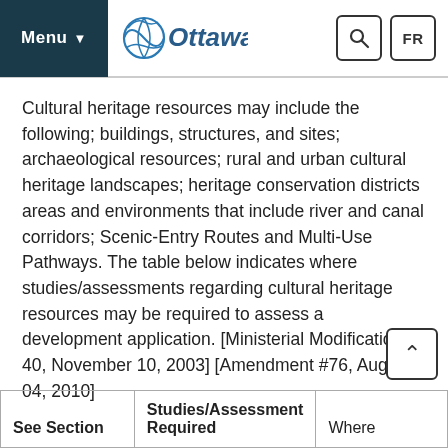Menu | Ottawa | Search | FR
Cultural heritage resources may include the following; buildings, structures, and sites; archaeological resources; rural and urban cultural heritage landscapes; heritage conservation districts areas and environments that include river and canal corridors; Scenic-Entry Routes and Multi-Use Pathways. The table below indicates where studies/assessments regarding cultural heritage resources may be required to assess a development application. [Ministerial Modification 40, November 10, 2003] [Amendment #76, August 04, 2010]
| See Section | Studies/Assessment Required | Where Required |
| --- | --- | --- |